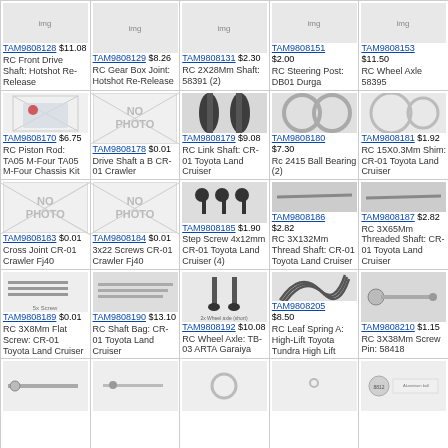| TAM9808128 $11.08 RC Front Drive Shaft: Hotshot Re-Release | TAM9808129 $8.26 RC Gear Box Joint: Hotshot Re-Release | TAM9808131 $2.30 RC 2X28Mm Shaft: 58391 (2) | TAM9808151 $2.00 RC Steering Post: DB01 Durga | TAM9808153 $11.50 RC Wheel Axle 58395 |
| TAM9808170 $6.75 RC Piston Rod: TA05 M-Four TA05 M-Four Chassis Kit | TAM9808178 $0.01 Drive Shaft a B CR-01 Crawler | TAM9808179 $9.08 RC Link Shaft: CR-01 Toyota Land Cruiser | TAM9808180 $7.30 Rc 2415 Ball Bearing (2) | TAM9808181 $1.92 RC 15X0.3Mm Shim: CR-01 Toyota Land Cruiser |
| TAM9808183 $0.01 Cross Joint CR-01 Crawler Fj40 | TAM9808184 $0.01 3x22 Screws CR-01 Crawler Fj40 | TAM9808185 $1.90 Step Screw 4x12mm CR-01 Toyota Land Cruiser (4) | TAM9808186 $2.82 RC 3X132Mm Thread Shaft: CR-01 Toyota Land Cruiser | TAM9808187 $2.82 RC 3X65Mm Threaded Shaft: CR-01 Toyota Land Cruiser |
| TAM9808189 $0.01 RC 3X8Mm Flat Screw: CR-01 Toyota Land Cruiser | TAM9808190 $13.10 RC Shaft Bag: CR-01 Toyota Land Cruiser | TAM9808192 $10.08 RC Wheel Axle: TB-03 ARTA Garaiya | TAM9808205 $8.50 RC Leaf Spring A: High-Lift Toyota Tundra High Lift | TAM9808210 $1.15 RC 3X38Mm Screw Pin: 58418 |
|  |  |  |  |  |